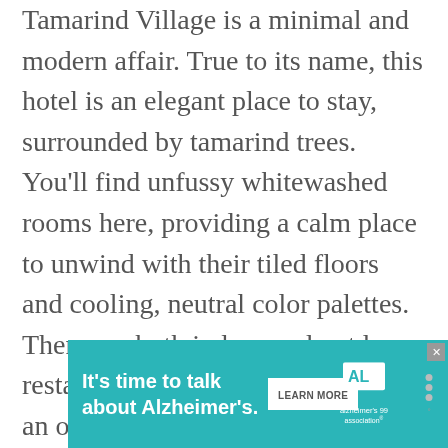Tamarind Village is a minimal and modern affair. True to its name, this hotel is an elegant place to stay, surrounded by tamarind trees. You'll find unfussy whitewashed rooms here, providing a calm place to unwind with their tiled floors and cooling, neutral color palettes. There are both indoor and outdoor restaurants at this hotel, a spa, and an outdoor pool to cool off in after a day of exploring Chiang Mai. From here, it's a 10-minute walk to the Night Bazaar and the Ping River – and all the restaurants it offers along its banks.
[Figure (other): Advertisement banner for Alzheimer's Association: 'It's time to talk about Alzheimer's.' with a Learn More button, Alzheimer's Association logo, and a close button.]